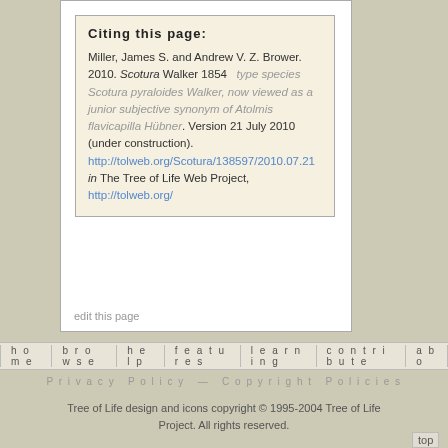Citing this page:
Miller, James S. and Andrew V. Z. Brower. 2010. Scotura Walker 1854   type species Scotura pyraloides Walker, now viewed as a junior subjective synonym of Atolmis flavicapilla Hübner. Version 21 July 2010 (under construction). http://tolweb.org/Scotura/138597/2010.07.21 in The Tree of Life Web Project, http://tolweb.org/
edit this page
home   browse   help   features   learning   contribute   abo
Privacy Policy — Copyright Policies
Tree of Life design and icons copyright © 1995-2004 Tree of Life Project. All rights reserved.
top